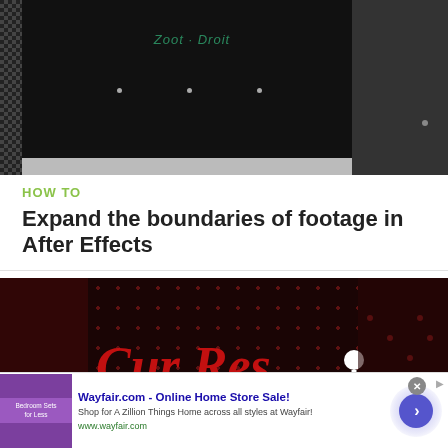[Figure (screenshot): Dark video thumbnail showing a black background with a logo/title in green/teal text in the center, gray checkerboard area on left, dark gray area on right]
HOW TO
Expand the boundaries of footage in After Effects
[Figure (screenshot): Music/design graphic with dark red background, dot pattern, large red italic text reading 'Cur Res', white running figure silhouette, and text 'DESIGN OF THE SERIES']
[Figure (advertisement): Wayfair.com ad: Online Home Store Sale! Shop for A Zillion Things Home across all styles at Wayfair! www.wayfair.com, with purple bedroom image and blue circular arrow button]